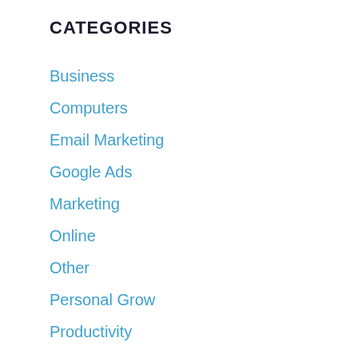CATEGORIES
Business
Computers
Email Marketing
Google Ads
Marketing
Online
Other
Personal Grow
Productivity
SEO
Social Media